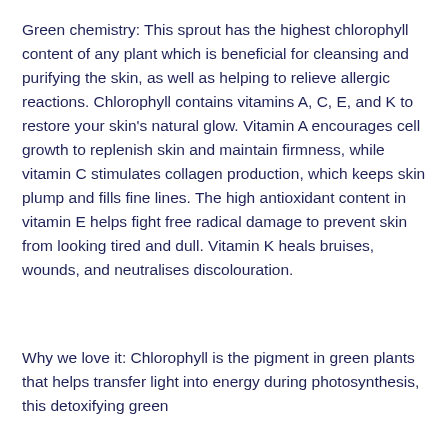Green chemistry: This sprout has the highest chlorophyll content of any plant which is beneficial for cleansing and purifying the skin, as well as helping to relieve allergic reactions. Chlorophyll contains vitamins A, C, E, and K to restore your skin's natural glow. Vitamin A encourages cell growth to replenish skin and maintain firmness, while vitamin C stimulates collagen production, which keeps skin plump and fills fine lines. The high antioxidant content in vitamin E helps fight free radical damage to prevent skin from looking tired and dull. Vitamin K heals bruises, wounds, and neutralises discolouration.
Why we love it: Chlorophyll is the pigment in green plants that helps transfer light into energy during photosynthesis, this detoxifying green…